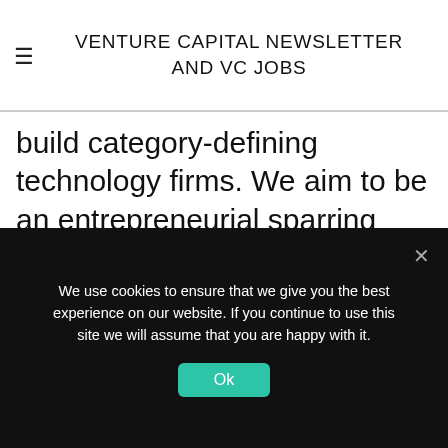VENTURE CAPITAL NEWSLETTER AND VC JOBS
build category-defining technology firms. We aim to be an entrepreneurial sparring partner for visionary founders from ideation to IPO and beyond. A privately financed structure enables us to invest permanent, flexible and long-term capital in a multitude of sectors.
Our young & hungry team has big ambitions and is unique in how we mirror the founders
We use cookies to ensure that we give you the best experience on our website. If you continue to use this site we will assume that you are happy with it.